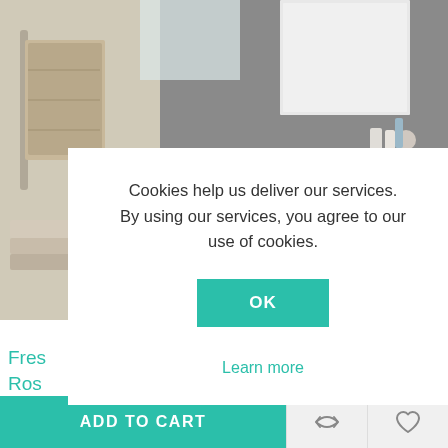[Figure (photo): Bathroom interior photo showing a wall-mounted wooden vanity unit with white basin, a mirror cabinet above it, and hanging towels on the left and right sides. Dark grey wall background.]
Cookies help us deliver our services. By using our services, you agree to our use of cookies.
OK
Learn more
Fres Ros a Faucet
$2,190.33  $1,288.43
ADD TO CART